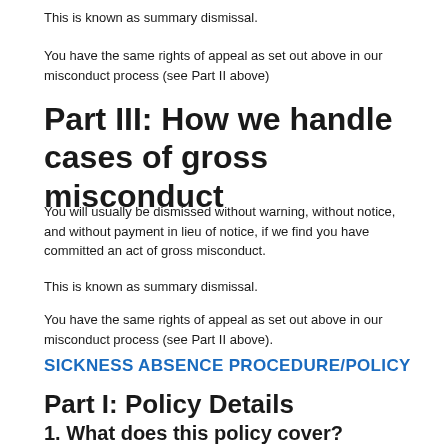This is known as summary dismissal.
You have the same rights of appeal as set out above in our misconduct process (see Part II above)
Part III: How we handle cases of gross misconduct
You will usually be dismissed without warning, without notice, and without payment in lieu of notice, if we find you have committed an act of gross misconduct.
This is known as summary dismissal.
You have the same rights of appeal as set out above in our misconduct process (see Part II above).
SICKNESS ABSENCE PROCEDURE/POLICY
Part I: Policy Details
1. What does this policy cover?